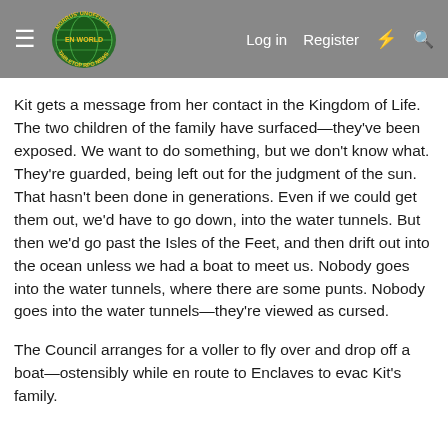Morrus' Unofficial Tabletop RPG News — Log in  Register
Kit gets a message from her contact in the Kingdom of Life. The two children of the family have surfaced—they've been exposed. We want to do something, but we don't know what. They're guarded, being left out for the judgment of the sun. That hasn't been done in generations. Even if we could get them out, we'd have to go down, into the water tunnels. But then we'd go past the Isles of the Feet, and then drift out into the ocean unless we had a boat to meet us. Nobody goes into the water tunnels, where there are some punts. Nobody goes into the water tunnels—they're viewed as cursed.
The Council arranges for a voller to fly over and drop off a boat—ostensibly while en route to Enclaves to evac Kit's family.